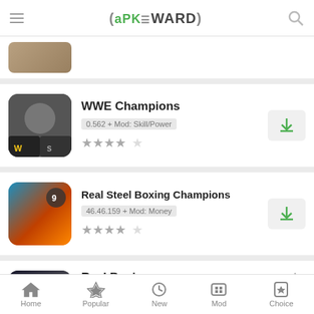APKaWARD
[Figure (screenshot): Partial app icon at top, partially visible]
WWE Champions
0.562 + Mod: Skill/Power
★★★★☆
Real Steel Boxing Champions
46.46.159 + Mod: Money
★★★★☆
Real Boxing
2.9.0 + Mod: Coins
Home | Popular | New | Mod | Choice